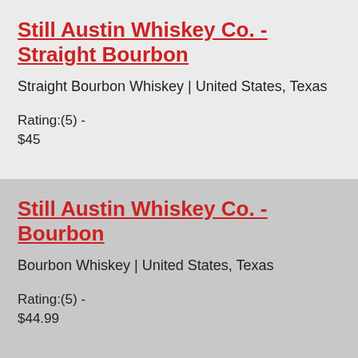Still Austin Whiskey Co. - Straight Bourbon
Straight Bourbon Whiskey | United States, Texas
Rating:(5) -
$45
Still Austin Whiskey Co. - Bourbon
Bourbon Whiskey | United States, Texas
Rating:(5) -
$44.99